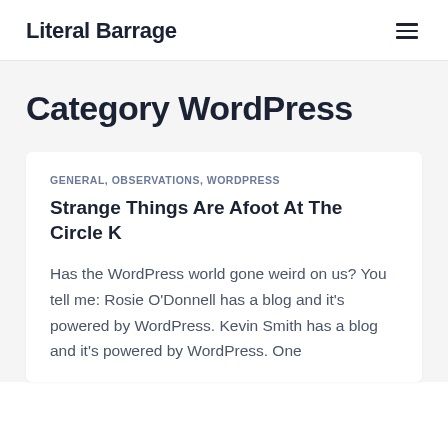Literal Barrage
Category WordPress
GENERAL, OBSERVATIONS, WORDPRESS
Strange Things Are Afoot At The Circle K
Has the WordPress world gone weird on us? You tell me: Rosie O'Donnell has a blog and it's powered by WordPress. Kevin Smith has a blog and it's powered by WordPress. One